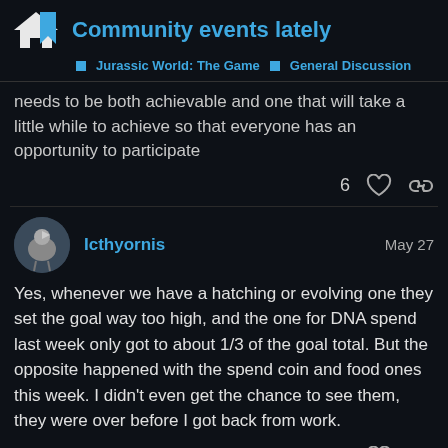Community events lately | Jurassic World: The Game > General Discussion
needs to be both achievable and one that will take a little while to achieve so that everyone has an opportunity to participate
6 ♡ 🔗
Icthyornis   May 27
Yes, whenever we have a hatching or evolving one they set the goal way too high, and the one for DNA spend last week only got to about 1/3 of the goal total. But the opposite happened with the spend coin and food ones this week. I didn't even get the chance to see them, they were over before I got back from work.
5 ♡ 🔗
2 / 4
OstaposaurusBae